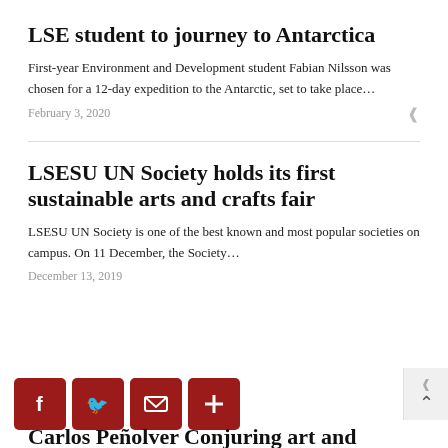LSE student to journey to Antarctica
First-year Environment and Development student Fabian Nilsson was chosen for a 12-day expedition to the Antarctic, set to take place...
February 3, 2020
LSESU UN Society holds its first sustainable arts and crafts fair
LSESU UN Society is one of the best known and most popular societies on campus. On 11 December, the Society...
December 13, 2019
[Figure (other): Social sharing buttons: Facebook (f), Twitter (bird), Email (envelope), More (+), all in dark red rounded squares]
Carlos Reñolver Conjuring art and